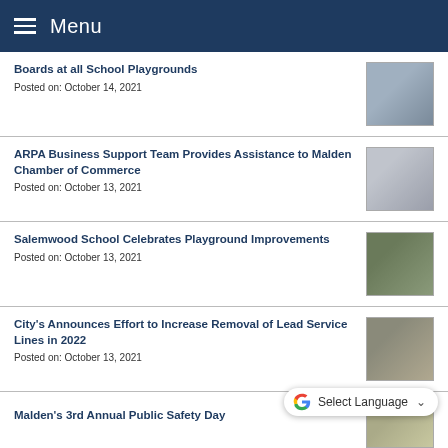Menu
Boards at all School Playgrounds
Posted on: October 14, 2021
[Figure (photo): Group photo of people at school playground]
ARPA Business Support Team Provides Assistance to Malden Chamber of Commerce
Posted on: October 13, 2021
[Figure (photo): Group photo with city seal backdrop]
Salemwood School Celebrates Playground Improvements
Posted on: October 13, 2021
[Figure (photo): Ribbon cutting ceremony at playground]
City's Announces Effort to Increase Removal of Lead Service Lines in 2022
Posted on: October 13, 2021
[Figure (photo): Photo of excavation/lead service line work]
Indigenous Peoples' Day -City Services open/closed
Posted on: October 7, 2021
Malden's 3rd Annual Public Safety Day